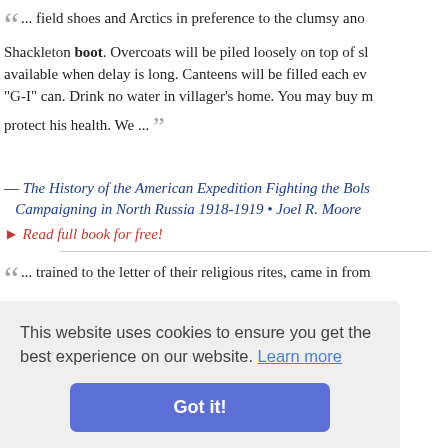“... field shoes and Arctics in preference to the clumsy and Shackleton boot. Overcoats will be piled loosely on top of sl available when delay is long. Canteens will be filled each ev "G-I" can. Drink no water in villager's home. You may buy m protect his health. We ... ”
— The History of the American Expedition Fighting the Bols Campaigning in North Russia 1918-1919 • Joel R. Moore
▸ Read full book for free!
“... trained to the letter of their religious rites, came in from the neighboring villages in numbers but rarely seen in the ci —yet no shepherd among them was too poor to wear the bo leather reaching to the knee — the hoding roughly fashioned ch infested orus • Mrs.
expression conventions and social instincts of the French People. You m Boulevards and in the cafes where the wealthy and luxurio
This website uses cookies to ensure you get the best experience on our website. Learn more
Got it!